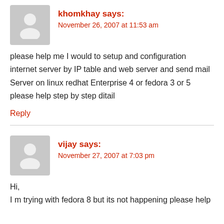khomkhay says:
November 26, 2007 at 11:53 am
please help me I would to setup and configuration internet server by IP table and web server and send mail Server on linux redhat Enterprise 4 or fedora 3 or 5 please help step by step ditail
Reply
vijay says:
November 27, 2007 at 7:03 pm
Hi,
I m trying with fedora 8 but its not happening please help